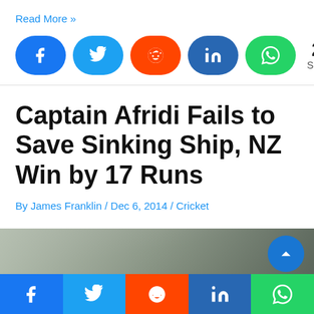Read More »
[Figure (infographic): Social share buttons: Facebook, Twitter, Reddit, LinkedIn, WhatsApp, with share count 27 Shares]
Captain Afridi Fails to Save Sinking Ship, NZ Win by 17 Runs
By James Franklin / Dec 6, 2014 / Cricket
[Figure (photo): Blurred crowd/sports photo with a back-to-top button]
[Figure (infographic): Bottom social share bar: Facebook, Twitter, Reddit, LinkedIn, WhatsApp]